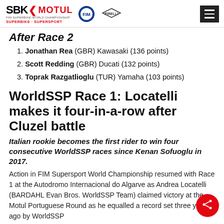SBK MOTUL FIM SUPERBIKE WORLD CHAMPIONSHIP SUPERBIKE SUPERSPORT
After Race 2
1. Jonathan Rea (GBR) Kawasaki (136 points)
2. Scott Redding (GBR) Ducati (132 points)
3. Toprak Razgatlioglu (TUR) Yamaha (103 points)
WorldSSP Race 1: Locatelli makes it four-in-a-row after Cluzel battle
Italian rookie becomes the first rider to win four consecutive WorldSSP races since Kenan Sofuoglu in 2017.
Action in FIM Supersport World Championship resumed with Race 1 at the Autodromo Internacional do Algarve as Andrea Locatelli (BARDAHL Evan Bros. WorldSSP Team) claimed victory at the Motul Portuguese Round as he equalled a record set three years ago by WorldSSP